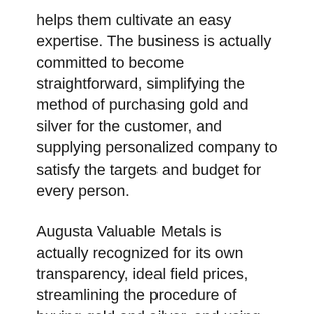helps them cultivate an easy expertise. The business is actually committed to become straightforward, simplifying the method of purchasing gold and silver for the customer, and supplying personalized company to satisfy the targets and budget for every person.
Augusta Valuable Metals is actually recognized for its own transparency, ideal field prices, streamlining the procedure of buying gold and silver, and using customized service to satisfy the goals and also budget plan of every individual. The business seems to be to do whatever it needs to see to it you possess a good adventure with all of them.
Storing, shipping and also vault answers